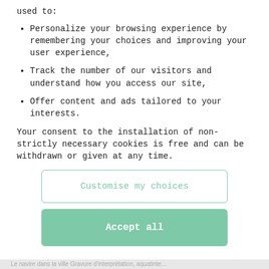Personalize your browsing experience by remembering your choices and improving your user experience,
Track the number of our visitors and understand how you access our site,
Offer content and ads tailored to your interests.
Your consent to the installation of non-strictly necessary cookies is free and can be withdrawn or given at any time.
Customise my choices
Accept all
18
Otto WOLS (1913-1951...
Le navire dans la ville Gravure d'interprétation, aquatinte...